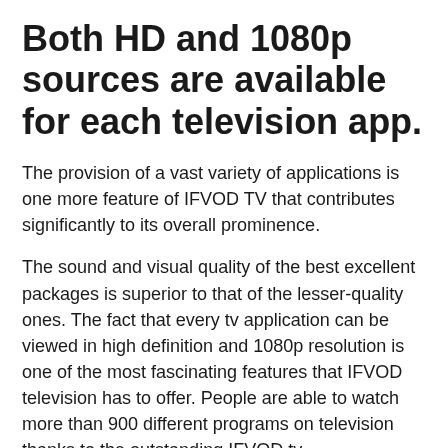Both HD and 1080p sources are available for each television app.
The provision of a vast variety of applications is one more feature of IFVOD TV that contributes significantly to its overall prominence.
The sound and visual quality of the best excellent packages is superior to that of the lesser-quality ones. The fact that every tv application can be viewed in high definition and 1080p resolution is one of the most fascinating features that IFVOD television has to offer. People are able to watch more than 900 different programs on television thanks to the outstanding IFVOD tv.
Pleasant apparatus.
It is no longer inaccurate to state that IFVOD television is compatible with the devices, as this is now the case. People